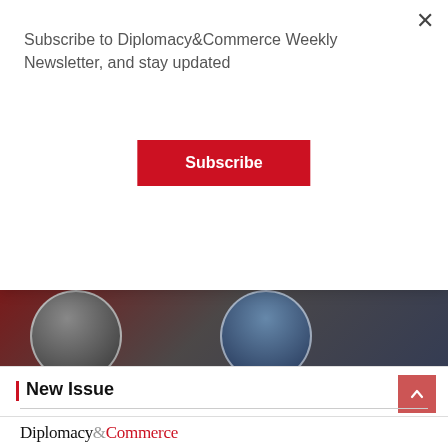Subscribe to Diplomacy&Commerce Weekly Newsletter, and stay updated
Subscribe
[Figure (photo): Article card with two circular portrait photos of Zikica Milosevic and H.E. Alcino Dos Prazeres on a dark red/grey background, with category tags DIPLOMACY TALKS and TOP STORIES]
Diplomacy Talks with H.E. Alcino dos Prazeres Izata Francisco da Conceição, Ambassador of Angola
November 15, 2021 / Jelena Ranđelović
New Issue
Diplomacy&Commerce